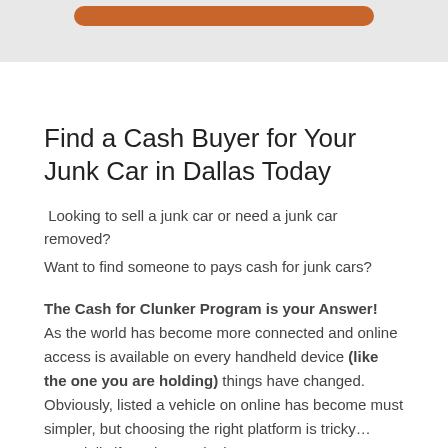[Figure (other): Orange rounded button on a light gray background banner at the top of the page]
Find a Cash Buyer for Your Junk Car in Dallas Today
Looking to sell a junk car or need a junk car removed?
Want to find someone to pays cash for junk cars?
The Cash for Clunker Program is your Answer! As the world has become more connected and online access is available on every handheld device (like the one you are holding) things have changed. Obviously, listed a vehicle on online has become must simpler, but choosing the right platform is tricky… especially if you have a junky